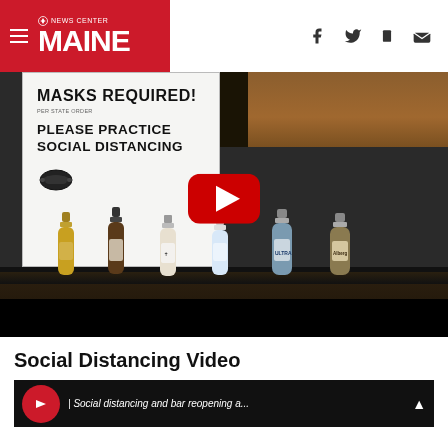NEWS CENTER MAINE
[Figure (screenshot): Video thumbnail showing a 'MASKS REQUIRED! PLEASE PRACTICE SOCIAL DISTANCING' sign above a bar with beer bottles, with a YouTube play button overlay. Below is a black progress bar.]
Social Distancing Video
[Figure (screenshot): Second video thumbnail strip with red circle and italic caption text, partially visible.]